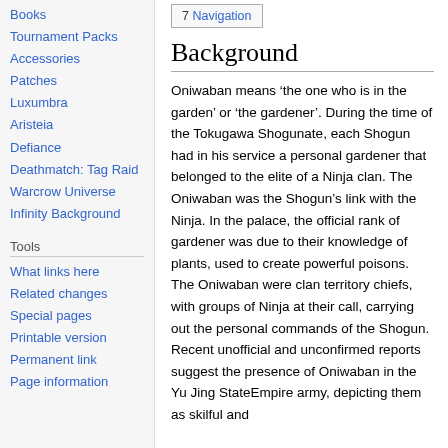Books
Tournament Packs
Accessories
Patches
Luxumbra
Aristeia
Defiance
Deathmatch: Tag Raid
Warcrow Universe
Infinity Background
Tools
What links here
Related changes
Special pages
Printable version
Permanent link
Page information
7 Navigation
Background
Oniwaban means ‘the one who is in the garden’ or ‘the gardener’. During the time of the Tokugawa Shogunate, each Shogun had in his service a personal gardener that belonged to the elite of a Ninja clan. The Oniwaban was the Shogun’s link with the Ninja. In the palace, the official rank of gardener was due to their knowledge of plants, used to create powerful poisons. The Oniwaban were clan territory chiefs, with groups of Ninja at their call, carrying out the personal commands of the Shogun. Recent unofficial and unconfirmed reports suggest the presence of Oniwaban in the Yu Jing StateEmpire army, depicting them as skilful and